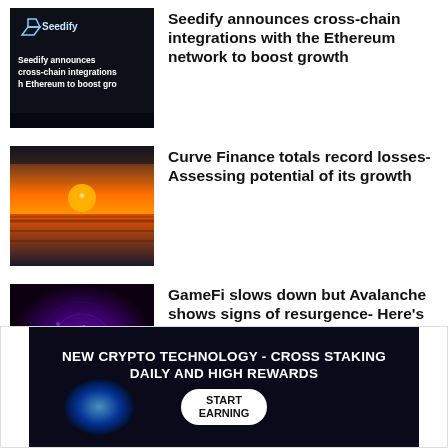[Figure (screenshot): Seedify announcement thumbnail with logo and text on dark background]
Seedify announces cross-chain integrations with the Ethereum network to boost growth
[Figure (photo): Sunset over water with orange sky]
Curve Finance totals record losses- Assessing potential of its growth
[Figure (illustration): Purple and dark spiral pattern]
GameFi slows down but Avalanche shows signs of resurgence- Here’s why
[Figure (infographic): Advertisement banner: NEW CRYPTO TECHNOLOGY - CROSS STAKING DAILY AND HIGH REWARDS with START EARNING button]